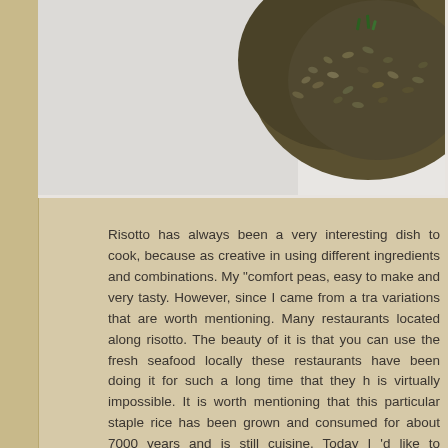[Figure (photo): Close-up photograph of dark-colored risotto rice dish, appearing as dark olive/brown colored grains, partially visible at top of page against a light gray/white background]
Risotto has always been a very interesting dish to cook, because as creative in using different ingredients and combinations. My "comfort peas, easy to make and very tasty. However, since I came from a tra variations that are worth mentioning. Many restaurants located along risotto. The beauty of it is that you can use the fresh seafood locally these restaurants have been doing it for such a long time that they h is virtually impossible. It is worth mentioning that this particular staple rice has been grown and consumed for about 7000 years and is still cuisine. Today I 'd like to introduce an interesting variation of risotto, coloration in the final result. The black ink doesn't give out significan really good and pleasing for those who are really into seafood.
Ingredients :